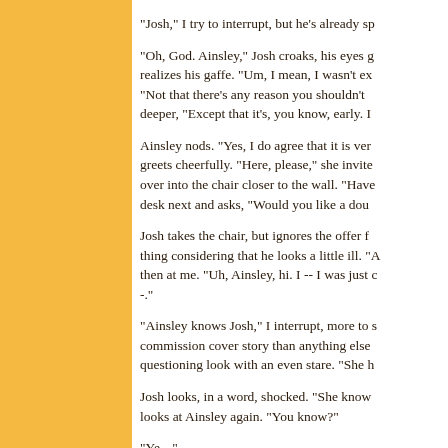"Josh," I try to interrupt, but he's already sp
"Oh, God. Ainsley," Josh croaks, his eyes g realizes his gaffe. "Um, I mean, I wasn't ex "Not that there's any reason you shouldn't deeper, "Except that it's, you know, early. I
Ainsley nods. "Yes, I do agree that it is ver greets cheerfully. "Here, please," she invite over into the chair closer to the wall. "Have desk next and asks, "Would you like a dou
Josh takes the chair, but ignores the offer f thing considering that he looks a little ill. "A then at me. "Uh, Ainsley, hi. I -- I was just c -."
"Ainsley knows Josh," I interrupt, more to s commission cover story than anything else questioning look with an even stare. "She h
Josh looks, in a word, shocked. "She know looks at Ainsley again. "You know?"
"Ye --"